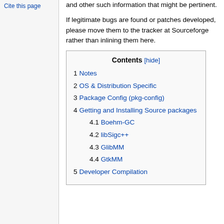and other such information that might be pertinent.
If legitimate bugs are found or patches developed, please move them to the tracker at Sourceforge rather than inlining them here.
Contents [hide]
1 Notes
2 OS & Distribution Specific
3 Package Config (pkg-config)
4 Getting and Installing Source packages
4.1 Boehm-GC
4.2 libSigc++
4.3 GlibMM
4.4 GtkMM
5 Developer Compilation